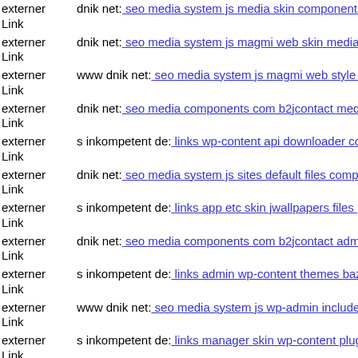externer Link dnik net: seo media system js media skin components com
externer Link dnik net: seo media system js magmi web skin media comp
externer Link www dnik net: seo media system js magmi web style php
externer Link dnik net: seo media components com b2jcontact media sites
externer Link s inkompetent de: links wp-content api downloader compor
externer Link dnik net: seo media system js sites default files components
externer Link s inkompetent de: links app etc skin jwallpapers files plupl
externer Link dnik net: seo media components com b2jcontact admin cms
externer Link s inkompetent de: links admin wp-content themes bazar the
externer Link www dnik net: seo media system js wp-admin includes plug
externer Link s inkompetent de: links manager skin wp-content plugins w
externer Link ...